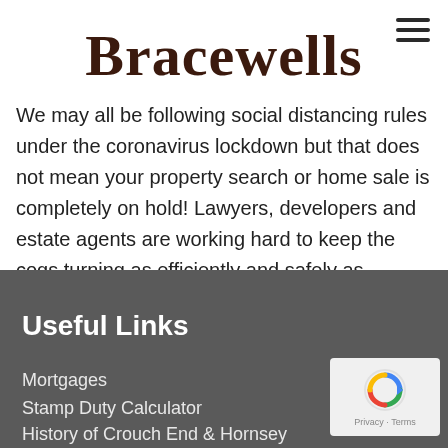Bracewells
We may all be following social distancing rules under the coronavirus lockdown but that does not mean your property search or home sale is completely on hold! Lawyers, developers and estate agents are working hard to keep the cogs turning as efficiently and safely as possible during the coronavirus lockdown. And home improvements: make the…Read More →
Useful Links
Mortgages
Stamp Duty Calculator
History of Crouch End & Hornsey